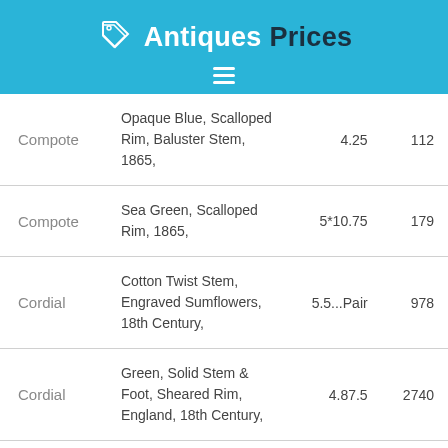Antiques Prices
| Item | Description | Size | Price |
| --- | --- | --- | --- |
| Compote | Opaque Blue, Scalloped Rim, Baluster Stem, 1865, | 4.25 | 112 |
| Compote | Sea Green, Scalloped Rim, 1865, | 5*10.75 | 179 |
| Cordial | Cotton Twist Stem, Engraved Sumflowers, 18th Century, | 5.5...Pair | 978 |
| Cordial | Green, Solid Stem & Foot, Sheared Rim, England, 18th Century, | 4.87.5 | 2740 |